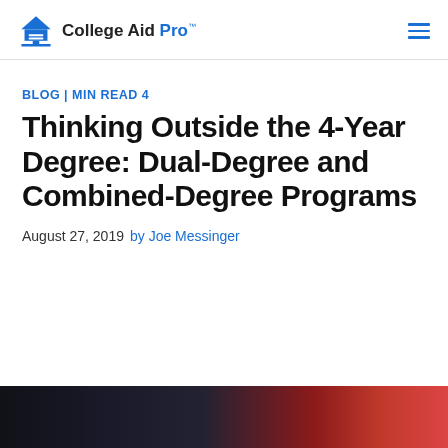College Aid Pro™
BLOG | MIN READ 4
Thinking Outside the 4-Year Degree: Dual-Degree and Combined-Degree Programs
August 27, 2019  by Joe Messinger
[Figure (photo): Partial photo of a person in dark clothing with a red accent, cropped at the bottom of the page]